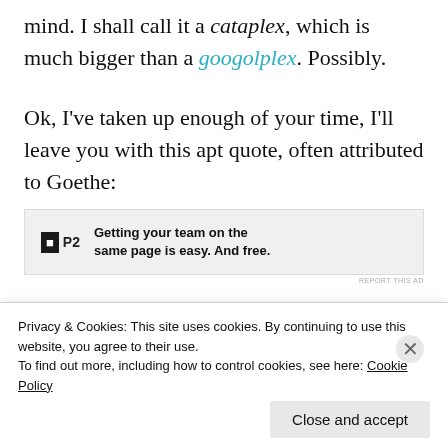mind. I shall call it a cataplex, which is much bigger than a googolplex. Possibly.
Ok, I've taken up enough of your time, I'll leave you with this apt quote, often attributed to Goethe:
[Figure (infographic): P2 advertisement banner: logo with 'P' in black box and 'P2' text, with copy 'Getting your team on the same page is easy. And free.']
(The mind is beginning to wander...
Privacy & Cookies: This site uses cookies. By continuing to use this website, you agree to their use. To find out more, including how to control cookies, see here: Cookie Policy
Close and accept